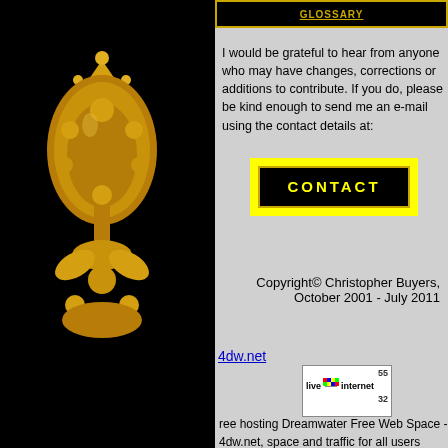GLOSSARY | ORDERS & DECORATIONS
[Figure (illustration): Gold ornamental crest/badge decoration on black background, top]
I would be grateful to hear from anyone who may have changes, corrections or additions to contribute. If you do, please be kind enough to send me an e-mail using the contact details at:
[Figure (other): CONTACT button - yellow bordered black box with yellow text]
Copyright© Christopher Buyers, October 2001 - July 2011
[Figure (illustration): Gold ornamental crest/badge decoration on black background, bottom]
4dw.net
[Figure (other): LiveInternet statistics badge showing numbers 55 and 32]
ree hosting Dreamwater Free Web Space - 4dw.net, space and traffic for all users
есплатный хостинг 4dw.net - это место и трафик для всех пользователей. У нас размещаются множество сайтов фирм, домашних страниц и онлайн магазинов